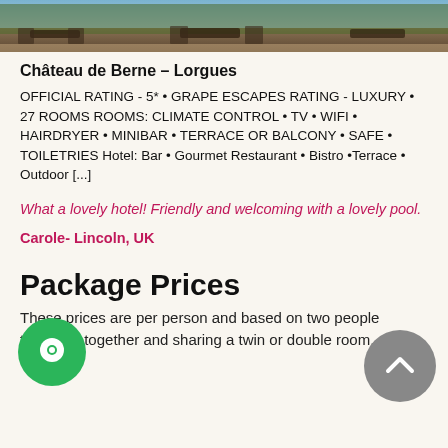[Figure (photo): Outdoor terrace/dining area of the hotel with tables, chairs, and lush green trees in the background]
Château de Berne – Lorgues
OFFICIAL RATING - 5* • GRAPE ESCAPES RATING - LUXURY • 27 ROOMS ROOMS: CLIMATE CONTROL • TV • WIFI • HAIRDRYER • MINIBAR • TERRACE OR BALCONY • SAFE • TOILETRIES Hotel: Bar • Gourmet Restaurant • Bistro •Terrace • Outdoor [...]
What a lovely hotel! Friendly and welcoming with a lovely pool.
Carole- Lincoln, UK
Package Prices
These prices are per person and based on two people travelling together and sharing a twin or double room.